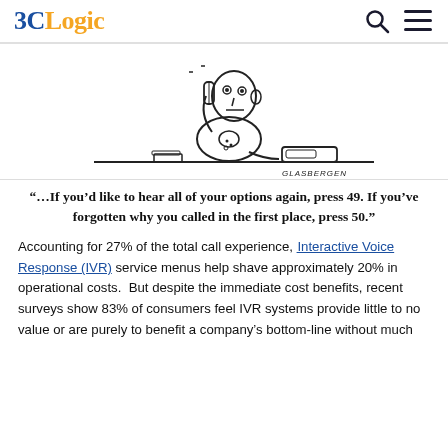3CLogic
[Figure (illustration): Glasbergen cartoon of a man sitting at a desk talking on the phone, with a telephone on the desk. Signed GLASBERGEN.]
“…If you’d like to hear all of your options again, press 49. If you’ve forgotten why you called in the first place, press 50.”
Accounting for 27% of the total call experience, Interactive Voice Response (IVR) service menus help shave approximately 20% in operational costs.  But despite the immediate cost benefits, recent surveys show 83% of consumers feel IVR systems provide little to no value or are purely to benefit a company’s bottom-line without much consideration to the customer experience, a fact...